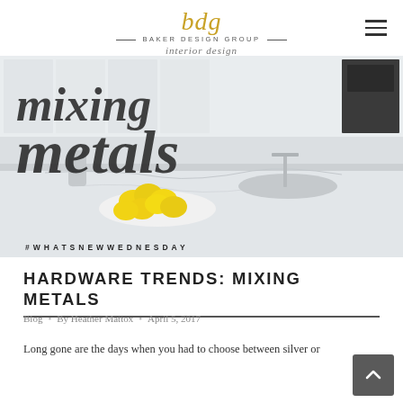Baker Design Group — interior design logo
[Figure (photo): Hero image of a kitchen with overlaid script text reading 'Mixing Metals' and hashtag #WHATSNEWWEDNESDAY, with lemons on a plate on a marble countertop]
HARDWARE TRENDS: MIXING METALS
Blog • By Heather Mattox • April 5, 2017
Long gone are the days when you had to choose between silver or